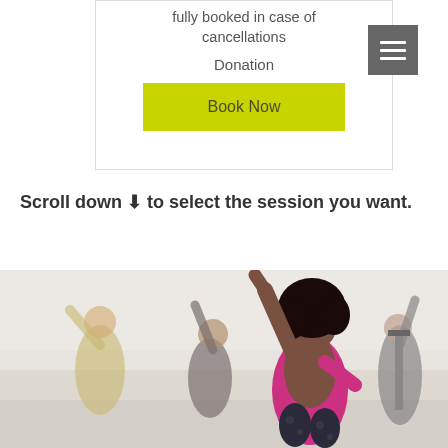fully booked in case of cancellations
Donation
Book Now
Scroll down ↓ to select the session you want.
[Figure (photo): Group of women in a fitness/dance class raising their arms, with a woman in a pink sports bra in the foreground]